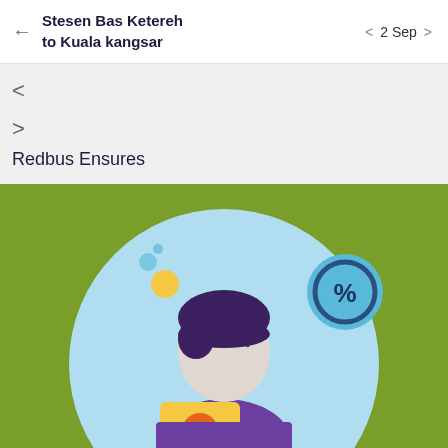Stesen Bas Ketereh to Kuala kangsar  <  2 Sep  >
< 
> 
Redbus Ensures
[Figure (illustration): Flat vector illustration of a person with dark purple hair wearing a purple shirt, holding a yellow tablet/device. The person stands in front of a large light blue circle on a green background. Top left shows a yellow circle and a small blue circle. Top right shows a teal circle with a percentage symbol icon.]